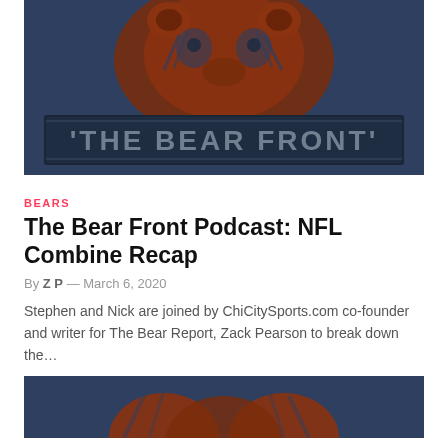[Figure (illustration): The Bear Front logo image: orange bear illustration on dark navy/blue background with 'THE BEAR FRONT' text in gray stencil font on a banner]
BEARS
The Bear Front Podcast: NFL Combine Recap
By ZP — March 6, 2020
Stephen and Nick are joined by ChiCitySports.com co-founder and writer for The Bear Report, Zack Pearson to break down the…
[Figure (illustration): Partial bottom image showing orange bear paw/logo on dark navy background, cropped at bottom of page]